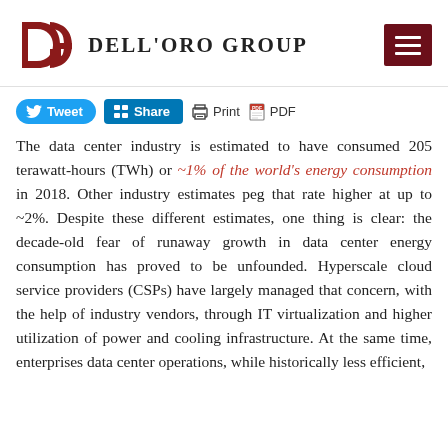Dell'Oro Group
[Figure (logo): Dell'Oro Group logo with stylized DG monogram in dark red and company name in uppercase serif text]
Tweet  Share  Print  PDF
The data center industry is estimated to have consumed 205 terawatt-hours (TWh) or ~1% of the world's energy consumption in 2018. Other industry estimates peg that rate higher at up to ~2%. Despite these different estimates, one thing is clear: the decade-old fear of runaway growth in data center energy consumption has proved to be unfounded. Hyperscale cloud service providers (CSPs) have largely managed that concern, with the help of industry vendors, through IT virtualization and higher utilization of power and cooling infrastructure. At the same time, enterprises data center operations, while historically less efficient,